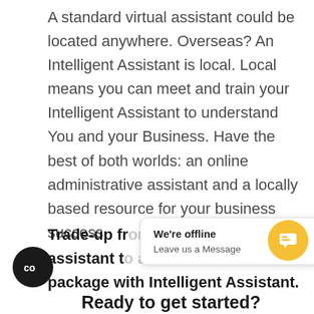A standard virtual assistant could be located anywhere. Overseas? An Intelligent Assistant is local. Local means you can meet and train your Intelligent Assistant to understand You and your Business. Have the best of both worlds: an online administrative assistant and a locally based resource for your business success.
Trade-up from a standard virtual assistant to a small office package with Intelligent Assistant.
[Figure (screenshot): Chat popup widget showing 'We're offline / Leave us a Message' with a yellow circular chat button on the right and a black circular button with 'co' icon on the bottom left]
Ready to get started?